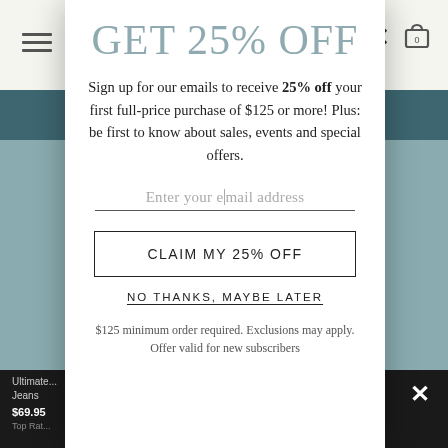[Figure (screenshot): E-commerce website background with navigation bar, product images, and dark bottom bar]
GET 25% OFF
Sign up for our emails to receive 25% off your first full-price purchase of $125 or more! Plus: be first to know about sales, events and special offers.
Enter your email address
CLAIM MY 25% OFF
NO THANKS, MAYBE LATER
$125 minimum order required. Exclusions may apply. Offer valid for new subscribers